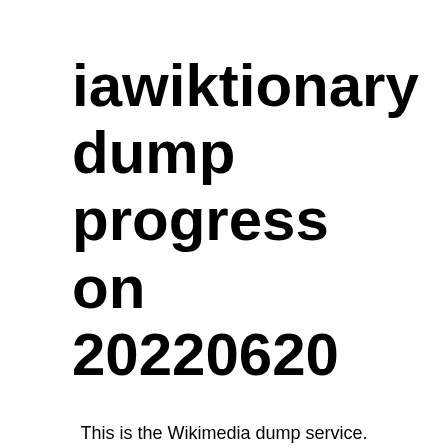iawiktionary dump progress on 20220620
This is the Wikimedia dump service. Please read the copyrights information. See Meta:Data dumps for documentation on the provided data formats.
Older versions of the 7zip decoder on Windows are known to have problems with some bz2-format files for larger wikis; we recommend the use of bzip2 for